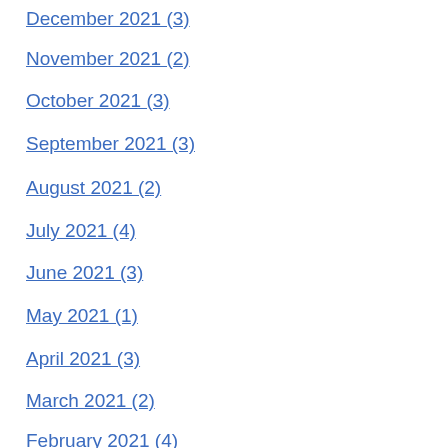December 2021 (3)
November 2021 (2)
October 2021 (3)
September 2021 (3)
August 2021 (2)
July 2021 (4)
June 2021 (3)
May 2021 (1)
April 2021 (3)
March 2021 (2)
February 2021 (4)